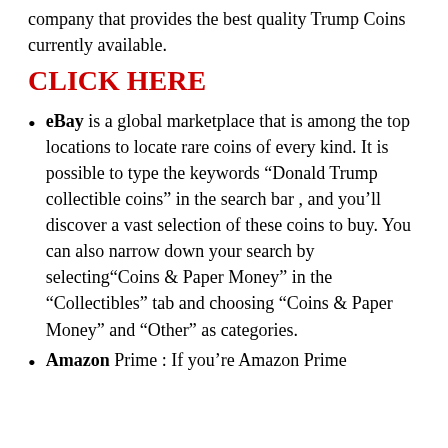company that provides the best quality Trump Coins currently available.
CLICK HERE
eBay is a global marketplace that is among the top locations to locate rare coins of every kind. It is possible to type the keywords “Donald Trump collectible coins” in the search bar , and you’ll discover a vast selection of these coins to buy. You can also narrow down your search by selecting“Coins & Paper Money” in the “Collectibles” tab and choosing “Coins & Paper Money” and “Other” as categories.
Amazon Prime : If you’re Amazon Prime